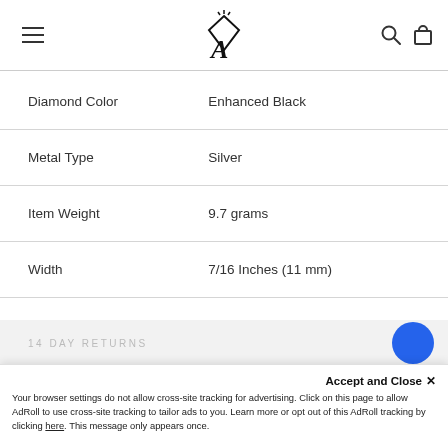[Logo: Jewelry store with diamond icon]
| Attribute | Value |
| --- | --- |
| Diamond Color | Enhanced Black |
| Metal Type | Silver |
| Item Weight | 9.7 grams |
| Width | 7/16 Inches (11 mm) |
14 DAY RETURNS
Accept and Close ×
Your browser settings do not allow cross-site tracking for advertising. Click on this page to allow AdRoll to use cross-site tracking to tailor ads to you. Learn more or opt out of this AdRoll tracking by clicking here. This message only appears once.